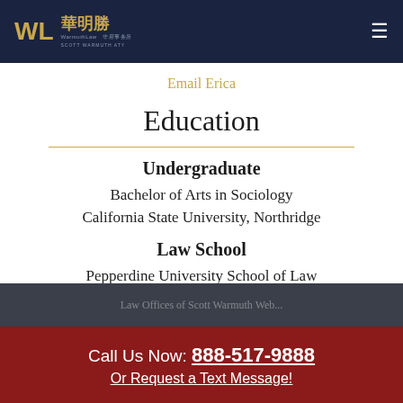WL 華明勝 WarmuthLaw 華府事務所 SCOTT WARMUTH ATY
Email Erica
Education
Undergraduate
Bachelor of Arts in Sociology
California State University, Northridge
Law School
Pepperdine University School of Law
Call Us Now: 888-517-9888
Or Request a Text Message!